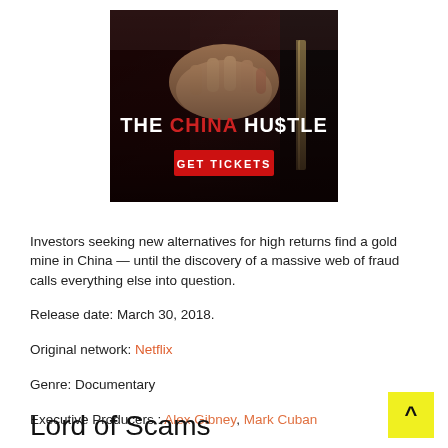[Figure (photo): Movie poster for 'The China Hustle' showing a hand on a briefcase, with text 'THE CHINA HU$TLE' and a red 'GET TICKETS' button]
Investors seeking new alternatives for high returns find a gold mine in China — until the discovery of a massive web of fraud calls everything else into question.
Release date: March 30, 2018.
Original network: Netflix
Genre: Documentary
Executive Producers : Alex Gibney, Mark Cuban
Lord of Scams